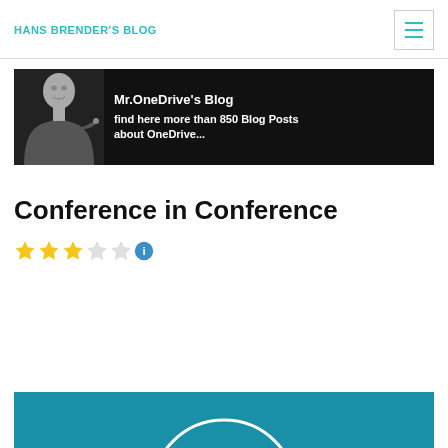HANS BRENDER'S BLOG
[Figure (illustration): Banner ad for Mr.OneDrive's Blog showing a black-and-white photo of a man gesturing with text: 'Mr.OneDrive's Blog — find here more than 850 Blog Posts about OneDrive...']
Conference in Conference
[Figure (infographic): Star rating widget showing 3 out of 5 stars (3 filled gold stars, 2 empty stars) followed by a blue info icon]
[Figure (illustration): Partial teal/blue background image at bottom of page, showing top of a circular graphic element]